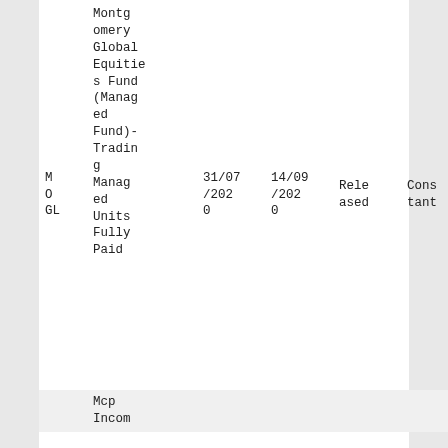| M
O
GL | Montgomery Global Equities Fund (Managed Fund)- Trading Managed Units Fully Paid | 31/07/2020 | 14/09/2020 | Released | Constant |
|  | Mcp Incom... |  |  |  |  |